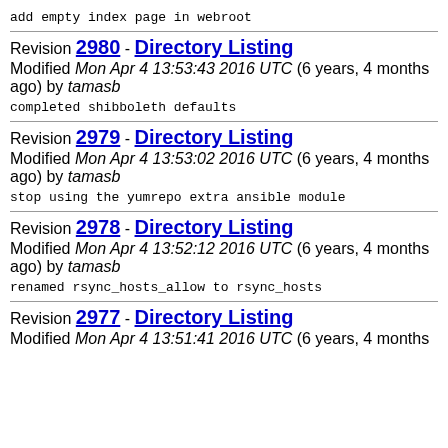add empty index page in webroot
Revision 2980 - Directory Listing
Modified Mon Apr 4 13:53:43 2016 UTC (6 years, 4 months ago) by tamasb
completed shibboleth defaults
Revision 2979 - Directory Listing
Modified Mon Apr 4 13:53:02 2016 UTC (6 years, 4 months ago) by tamasb
stop using the yumrepo extra ansible module
Revision 2978 - Directory Listing
Modified Mon Apr 4 13:52:12 2016 UTC (6 years, 4 months ago) by tamasb
renamed rsync_hosts_allow to rsync_hosts
Revision 2977 - Directory Listing
Modified Mon Apr 4 13:51:41 2016 UTC (6 years, 4 months ago)